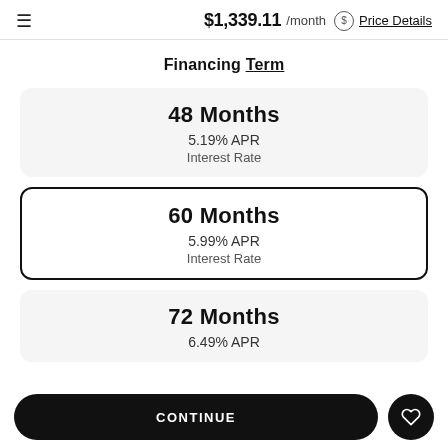$1,339.11 /month Price Details
Financing Term
48 Months
5.19% APR
Interest Rate
60 Months
5.99% APR
Interest Rate
72 Months
6.49% APR
CONTINUE